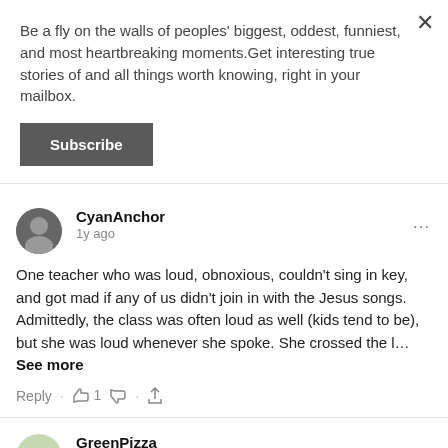Be a fly on the walls of peoples' biggest, oddest, funniest, and most heartbreaking moments.Get interesting true stories of and all things worth knowing, right in your mailbox.
Subscribe
CyanAnchor · 1y ago · One teacher who was loud, obnoxious, couldn't sing in key, and got mad if any of us didn't join in with the Jesus songs. Admittedly, the class was often loud as well (kids tend to be), but she was loud whenever she spoke. She crossed the l...See more
Reply · 1 · (share)
GreenPizza · 1y ago